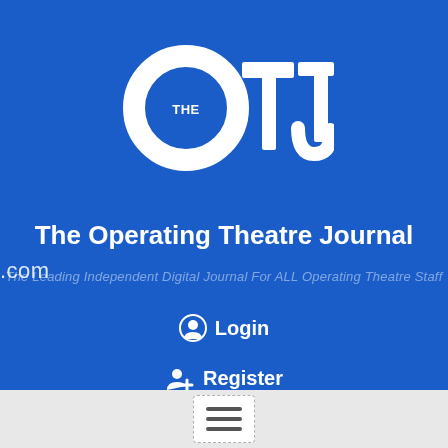[Figure (logo): The OTJ logo — white bold letters OTJ with a circle containing 'THE' inside the O, on a blue background]
.com
The Operating Theatre Journal
The Leading Independent Digital Journal For ALL Operating Theatre Staff
Login
Register
[Figure (other): Hamburger menu icon with three horizontal lines inside a dashed white box]